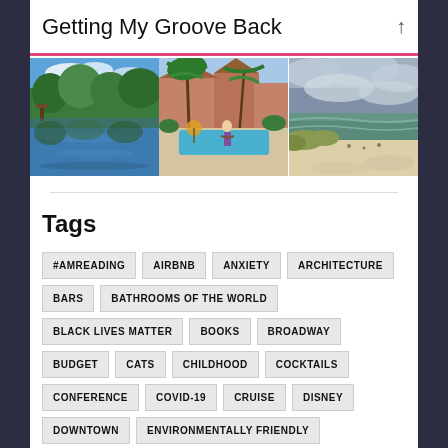Getting My Groove Back
[Figure (photo): Three travel photos: a lakeside scene with trees and reflections, a resort pool area with palm trees and a person walking, and a beach scene with ocean and cloudy sky.]
Tags
#AMREADING
AIRBNB
ANXIETY
ARCHITECTURE
BARS
BATHROOMS OF THE WORLD
BLACK LIVES MATTER
BOOKS
BROADWAY
BUDGET
CATS
CHILDHOOD
COCKTAILS
CONFERENCE
COVID-19
CRUISE
DISNEY
DOWNTOWN
ENVIRONMENTALLY FRIENDLY
EUROPEAN CITY
EUROTRIP